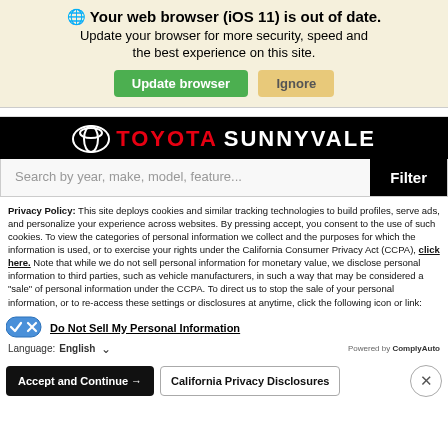🌐 Your web browser (iOS 11) is out of date. Update your browser for more security, speed and the best experience on this site.
Update browser | Ignore
[Figure (logo): Toyota Sunnyvale dealer logo — black background with Toyota emblem and text 'TOYOTA SUNNYVALE' in red and white]
Search by year, make, model, feature... | Filter
Privacy Policy: This site deploys cookies and similar tracking technologies to build profiles, serve ads, and personalize your experience across websites. By pressing accept, you consent to the use of such cookies. To view the categories of personal information we collect and the purposes for which the information is used, or to exercise your rights under the California Consumer Privacy Act (CCPA), click here. Note that while we do not sell personal information for monetary value, we disclose personal information to third parties, such as vehicle manufacturers, in such a way that may be considered a "sale" of personal information under the CCPA. To direct us to stop the sale of your personal information, or to re-access these settings or disclosures at anytime, click the following icon or link:
Do Not Sell My Personal Information
Language: English  ∨  Powered by ComplyAuto
Accept and Continue →  California Privacy Disclosures  ×